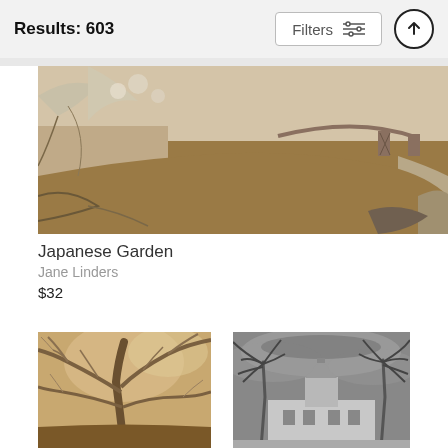Results: 603  Filters
[Figure (photo): Infrared-style panoramic photo of a Japanese garden with a wooden arched bridge over a reflective pond, bare cherry blossom trees with white blooms on the left, warm golden tones in the water.]
Japanese Garden
Jane Linders
$32
[Figure (photo): Infrared-style photo looking up at a large tree with spreading bare branches against a bright sky, warm sepia tones.]
[Figure (photo): Black and white photo of a historic building with a tower/steeple flanked by tall palm trees under a dramatic cloudy sky.]